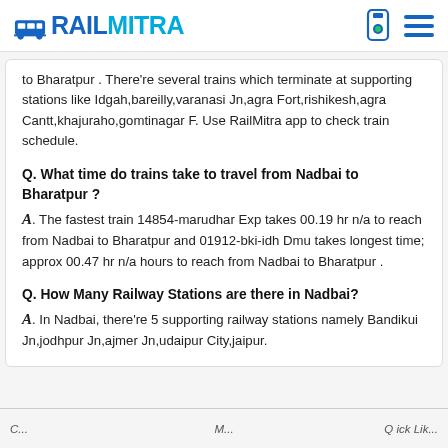RAILMITRA
to Bharatpur . There're several trains which terminate at supporting stations like Idgah,bareilly,varanasi Jn,agra Fort,rishikesh,agra Cantt,khajuraho,gomtinagar F. Use RailMitra app to check train schedule.
Q. What time do trains take to travel from Nadbai to Bharatpur ?
A. The fastest train 14854-marudhar Exp takes 00.19 hr n/a to reach from Nadbai to Bharatpur and 01912-bki-idh Dmu takes longest time; approx 00.47 hr n/a hours to reach from Nadbai to Bharatpur .
Q. How Many Railway Stations are there in Nadbai?
A. In Nadbai, there're 5 supporting railway stations namely Bandikui Jn,jodhpur Jn,ajmer Jn,udaipur City,jaipur.
...